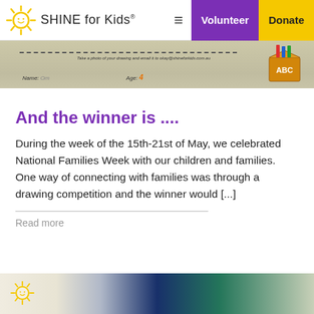SHINE for Kids — Volunteer | Donate
[Figure (photo): Top cropped image of a drawing competition worksheet with dashed lines and an ABC box illustration on the right side. Text reads: Take a photo of your drawing and email it to okay@shineforkids.com.au. Name: [handwritten] Age: 4]
And the winner is ....
During the week of the 15th-21st of May, we celebrated National Families Week with our children and families. One way of connecting with families was through a drawing competition and the winner would [...]
Read more
[Figure (photo): Bottom cropped image showing colourful fabric bags and space-themed items including what appears to be planet designs on dark fabric.]